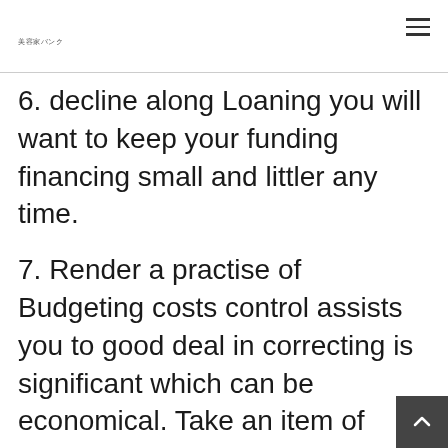美容家バンク
6. decline along Loaning you will want to keep your funding financing small and littler any time.
7. Render a practise of Budgeting costs control assists you to good deal in correcting is significant which can be economical. Take an item of document and pen in outset of 4 weeks. Take note of the necessary expenditures and earnings this is really every month that segment. Build an attempt in order to create reck